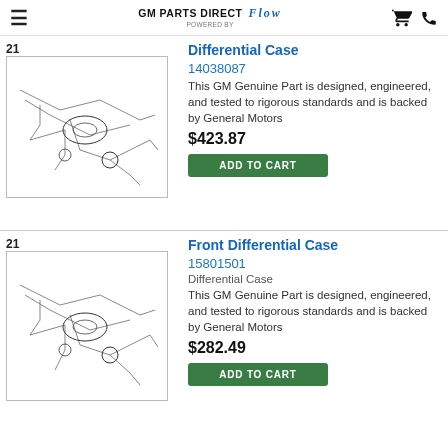GM PARTS DIRECT FLOW POWERED BY
Differential Case
14038087
This GM Genuine Part is designed, engineered, and tested to rigorous standards and is backed by General Motors
$423.87
ADD TO CART
Front Differential Case
15801501
Differential Case
This GM Genuine Part is designed, engineered, and tested to rigorous standards and is backed by General Motors
$282.49
ADD TO CART